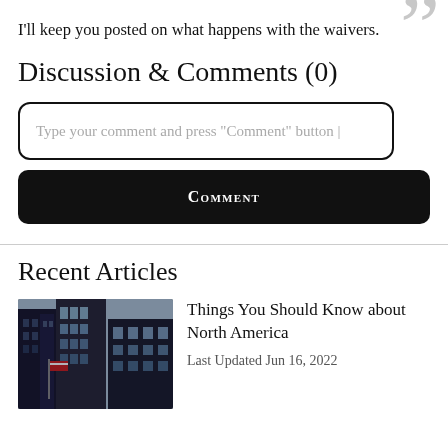I'll keep you posted on what happens with the waivers.
Discussion & Comments (0)
Type your comment and press "Comment" button
COMMENT
Recent Articles
[Figure (photo): Photo of skyscrapers viewed from below, featuring tall buildings with glass and metal facade, an American flag visible, dark and dramatic angle.]
Things You Should Know about North America
Last Updated Jun 16, 2022